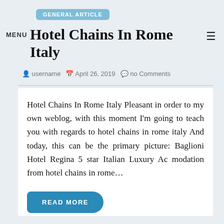GENERAL ARTICLE
Hotel Chains In Rome Italy
username  April 26, 2019  no Comments
Hotel Chains In Rome Italy Pleasant in order to my own weblog, with this moment I'm going to teach you with regards to hotel chains in rome italy And today, this can be the primary picture: Baglioni Hotel Regina 5 star Italian Luxury Ac modation from hotel chains in rome…
READ MORE